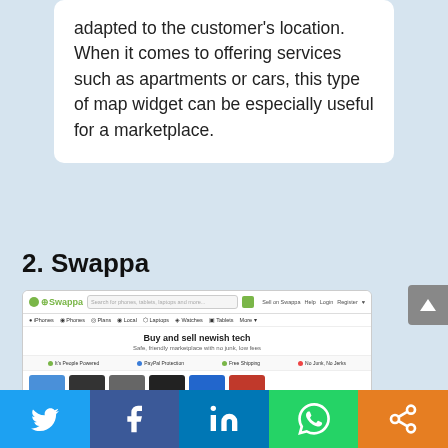adapted to the customer's location. When it comes to offering services such as apartments or cars, this type of map widget can be especially useful for a marketplace.
2. Swappa
[Figure (screenshot): Screenshot of the Swappa website homepage showing the logo, search bar, navigation categories (iPhones, Phones, Plans, Local, Laptops, Watches, Tablets, More), hero text 'Buy and sell newish tech', subheading 'Safe, friendly marketplace with no junk, low fees', feature icons (It's People Powered, PayPal Protection, Free Shipping, No Junk, No Jerks), and product thumbnails.]
[Figure (other): Scroll to top button (grey arrow pointing up)]